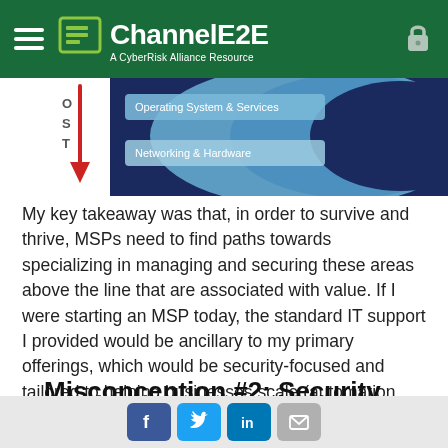ChannelE2E — A CyberRisk Alliance Resource
[Figure (infographic): Partial diagram showing layered technology stack with labels 'Operating System & Services' and 'Networking & Hardware', with a red downward arrow on the left side and overlapping circle shapes in blues on the right. Letters O, S, T visible on far left.]
My key takeaway was that, in order to survive and thrive, MSPs need to find paths towards specializing in managing and securing these areas above the line that are associated with value. If I were starting an MSP today, the standard IT support I provided would be ancillary to my primary offerings, which would be security-focused and tailored to helping businesses scale (automation, productivity, training, etc.).
Misconception #2: Security is purely a technical problem
Social share buttons: Facebook, Twitter, LinkedIn, Email